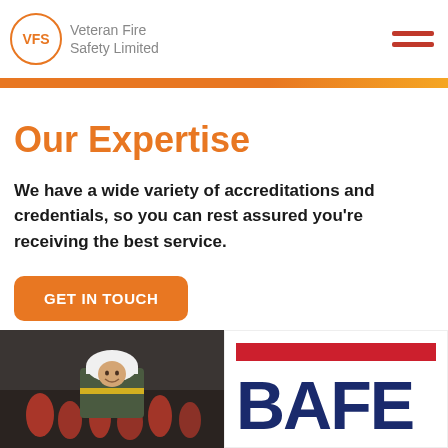Veteran Fire Safety Limited
Our Expertise
We have a wide variety of accreditations and credentials, so you can rest assured you're receiving the best service.
GET IN TOUCH
[Figure (photo): Photo of a worker in a hard hat and high-vis vest surrounded by fire extinguishers]
[Figure (logo): BAFE logo — red bar above navy blue text reading BAFE]